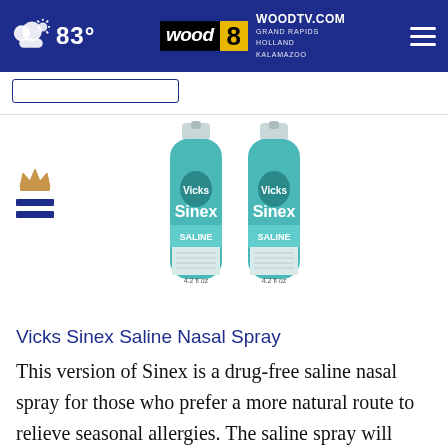83° WOODTV.COM GRAND RAPIDS HOLLAND KALAMAZOO — wood 8 TV
[Figure (photo): Two Vicks Sinex Saline nasal spray bottles with teal/turquoise design and pump tops]
Vicks Sinex Saline Nasal Spray
This version of Sinex is a drug-free saline nasal spray for those who prefer a more natural route to relieve seasonal allergies. The saline spray will clear your nasal passages from allergens, irritants and